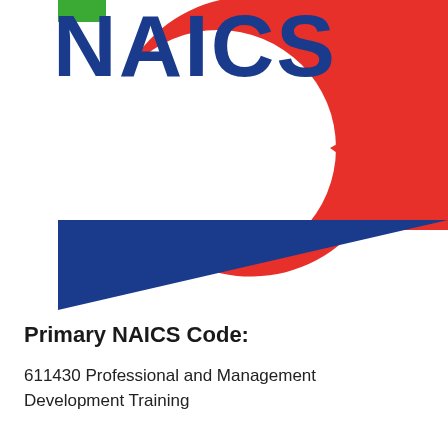[Figure (logo): NAICS logo: large red C-shape with white circle cutout, blue triangle pointing right at bottom, small green rectangle top-left, and 'NAICS' text in dark blue at top right]
Primary NAICS Code:
611430 Professional and Management Development Training